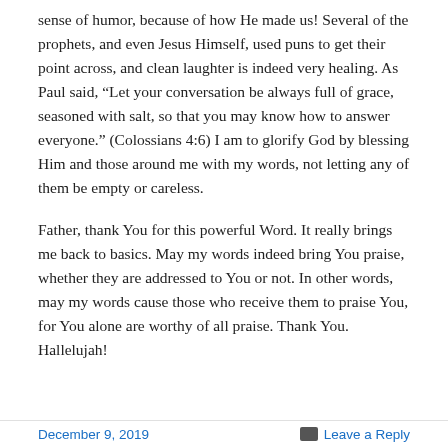sense of humor, because of how He made us! Several of the prophets, and even Jesus Himself, used puns to get their point across, and clean laughter is indeed very healing. As Paul said, “Let your conversation be always full of grace, seasoned with salt, so that you may know how to answer everyone.” (Colossians 4:6) I am to glorify God by blessing Him and those around me with my words, not letting any of them be empty or careless.
Father, thank You for this powerful Word. It really brings me back to basics. May my words indeed bring You praise, whether they are addressed to You or not. In other words, may my words cause those who receive them to praise You, for You alone are worthy of all praise. Thank You. Hallelujah!
December 9, 2019   Leave a Reply